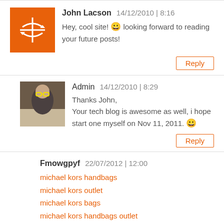John Lacson  14/12/2010 | 8:16
Hey, cool site! 😊 looking forward to reading your future posts!
Reply
Admin  14/12/2010 | 8:29
Thanks John,
Your tech blog is awesome as well, i hope start one myself on Nov 11, 2011. 😊
Reply
Fmowgpyf  22/07/2012 | 12:00
michael kors handbags
michael kors outlet
michael kors bags
michael kors handbags outlet
michael kors handbags on sale